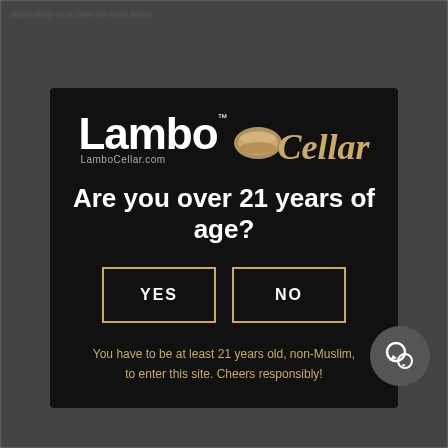[Figure (screenshot): Age verification modal popup for LamboCellar.com wine website. Black modal on blurred gray background with Lambo Cellar logo, age verification question, YES/NO buttons, and disclaimer text.]
Are you over 21 years of age?
YES
NO
You have to be at least 21 years old, non-Muslim, to enter this site. Cheers responsibly!